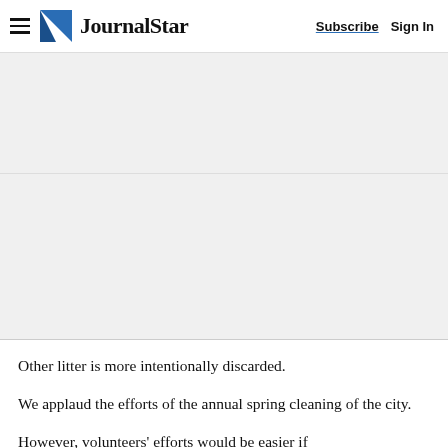Journal Star — Subscribe | Sign In
[Figure (other): Advertisement placeholder block 1]
[Figure (other): Advertisement placeholder block 2]
Other litter is more intentionally discarded.
We applaud the efforts of the annual spring cleaning of the city.
However, volunteers' efforts would be easier if